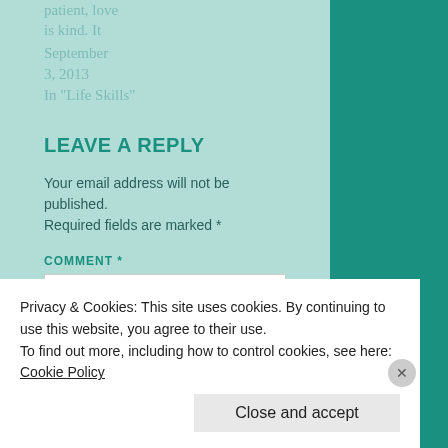patient, love is kind. It
September 3, 2013
In "Life Skills"
LEAVE A REPLY
Your email address will not be published. Required fields are marked *
COMMENT *
Privacy & Cookies: This site uses cookies. By continuing to use this website, you agree to their use. To find out more, including how to control cookies, see here: Cookie Policy
Close and accept